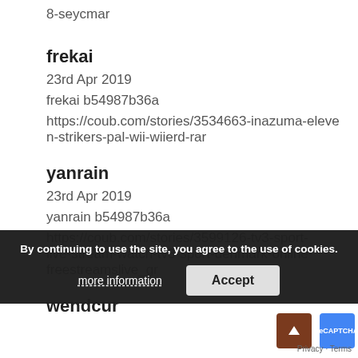8-seycmar
frekai
23rd Apr 2019
frekai b54987b36a
https://coub.com/stories/3534663-inazuma-eleven-strikers-pal-wii-wiierd-rar
yanrain
23rd Apr 2019
yanrain b54987b36a
https://coub.com/stories/3599126-tv3-sport-live-stream-watch-tv3-sport-denmark-online-freestreams­live_gr
wendcur